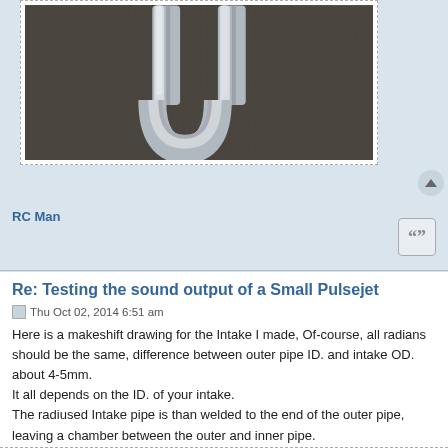[Figure (photo): Close-up photo of a metallic U-shaped intake pipe/paperclip against a dark fabric background]
RC Man
Re: Testing the sound output of a Small Pulsejet
Thu Oct 02, 2014 6:51 am
Here is a makeshift drawing for the Intake I made, Of-course, all radians should be the same, difference between outer pipe ID. and intake OD. about 4-5mm.
It all depends on the ID. of your intake.
The radiused Intake pipe is than welded to the end of the outer pipe, leaving a chamber between the outer and inner pipe.
Backblow is reduced, and starting was easier. (For me anyway)

If you try it, Post your results here. I figure we all could use some help in getting a Pulsejet running, especially us beginners.